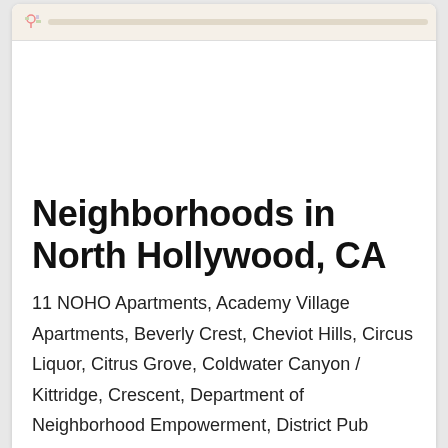[Figure (screenshot): Map strip at the top of a mobile web page showing a partial Google Maps interface with location markers]
Neighborhoods in North Hollywood, CA
11 NOHO Apartments, Academy Village Apartments, Beverly Crest, Cheviot Hills, Circus Liquor, Citrus Grove, Coldwater Canyon / Kittridge, Crescent, Department of Neighborhood Empowerment, District Pub NoHo, EAT, East Hollywood, East Valley High School, Fair Avenue Elementary School, Glenwood